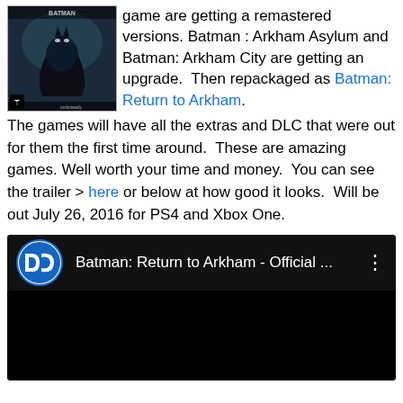[Figure (photo): Batman: Arkham Asylum game cover art showing a dark superhero figure with a bird/bat motif, with ESRB T rating and Rocksteady logo]
game are getting a remastered versions. Batman : Arkham Asylum and Batman: Arkham City are getting an upgrade. Then repackaged as Batman: Return to Arkham. The games will have all the extras and DLC that were out for them the first time around. These are amazing games. Well worth your time and money. You can see the trailer > here or below at how good it looks. Will be out July 26, 2016 for PS4 and Xbox One.
[Figure (screenshot): Embedded YouTube video thumbnail showing Batman: Return to Arkham - Official ... with DC Comics logo on left and three-dot menu on right, black background]